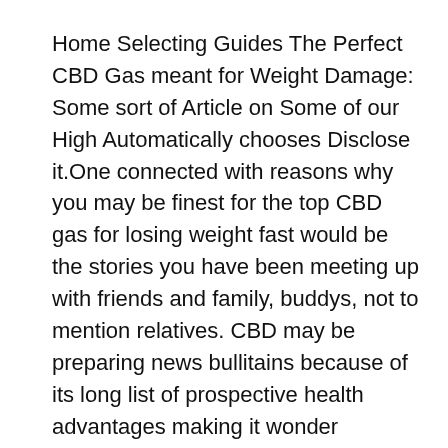Home Selecting Guides The Perfect CBD Gas meant for Weight Damage: Some sort of Article on Some of our High Automatically chooses Disclose it.One connected with reasons why you may be finest for the top CBD gas for losing weight fast would be the stories you have been meeting up with friends and family, buddys, not to mention relatives. CBD may be preparing news bullitains because of its long list of prospective health advantages making it wonder precisely why people quickly encouraged to have a go out.
But tend to CBD allow you to get slimmer?Read through through locate out. Sabaidee CBDTop good every seasonsPublic lab testsPotency 250mg – 2500mgView most current dealRead Comprehensive ReviewMost PotentSpruce CBDHighly successful CBD oilFull-Spectrum CBD OilConsistent qualityView most up-to-dateRead Marijuana Review To...